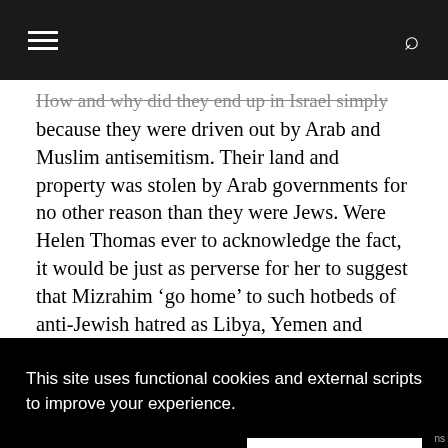[hamburger menu icon] [search icon]
How and why did they end up in Israel simply because they were driven out by Arab and Muslim antisemitism. Their land and property was stolen by Arab governments for no other reason than they were Jews. Were Helen Thomas ever to acknowledge the fact, it would be just as perverse for her to suggest that Mizrahim ‘go home’ to such hotbeds of anti-Jewish hatred as Libya, Yemen and Syria, as to
This site uses functional cookies and external scripts to improve your experience.
MORE INFORMATION
antisemitism that drove a million Jews out of